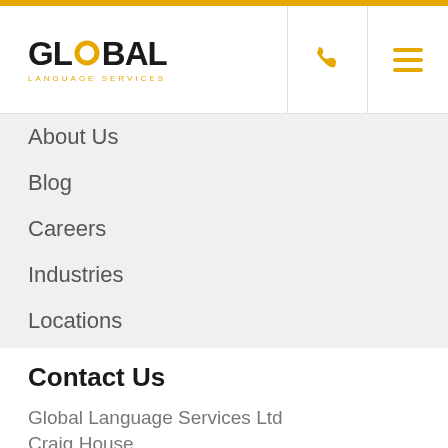[Figure (logo): Global Language Services logo with yellow circle O and yellow subtitle text]
About Us
Blog
Careers
Industries
Locations
Languages
FAQs
Contact Us
Global Language Services Ltd
Craig House